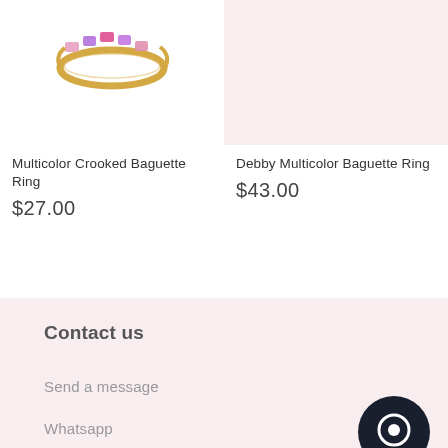[Figure (photo): Gold multicolor crooked baguette ring with pink and purple gemstones on white background]
[Figure (photo): Debby Multicolor Baguette Ring product image on light pink background]
Multicolor Crooked Baguette Ring
$27.00
Debby Multicolor Baguette Ring
$43.00
Contact us
Send a message
Whatsapp